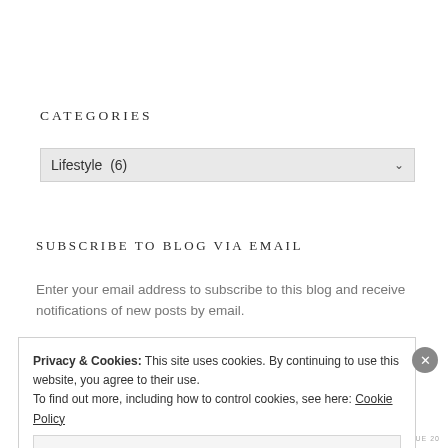CATEGORIES
Lifestyle  (6)
SUBSCRIBE TO BLOG VIA EMAIL
Enter your email address to subscribe to this blog and receive notifications of new posts by email.
Privacy & Cookies: This site uses cookies. By continuing to use this website, you agree to their use.
To find out more, including how to control cookies, see here: Cookie Policy
Close and accept
SHLONT TUE 20